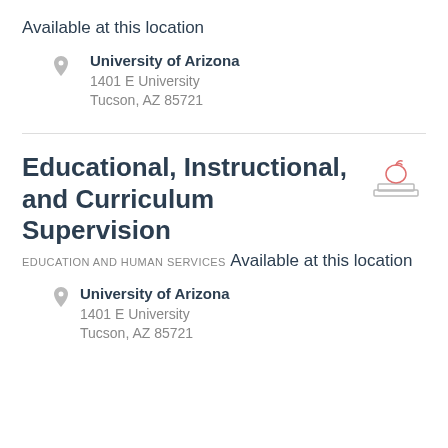Available at this location
University of Arizona
1401 E University
Tucson, AZ 85721
Educational, Instructional, and Curriculum Supervision
EDUCATION AND HUMAN SERVICES
Available at this location
University of Arizona
1401 E University
Tucson, AZ 85721